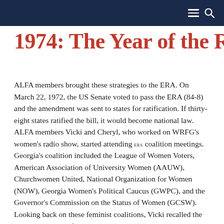≡ 🔍
1974: The Year of the Rabble
ALFA members brought these strategies to the ERA. On March 22, 1972, the US Senate voted to pass the ERA (84-8) and the amendment was sent to states for ratification. If thirty-eight states ratified the bill, it would become national law. ALFA members Vicki and Cheryl, who worked on WRFG's women's radio show, started attending era coalition meetings. Georgia's coalition included the League of Women Voters, American Association of University Women (AAUW), Churchwomen United, National Organization for Women (NOW), Georgia Women's Political Caucus (GWPC), and the Governor's Commission on the Status of Women (GCSW). Looking back on these feminist coalitions, Vicki recalled the internal tensions of initial meetings: